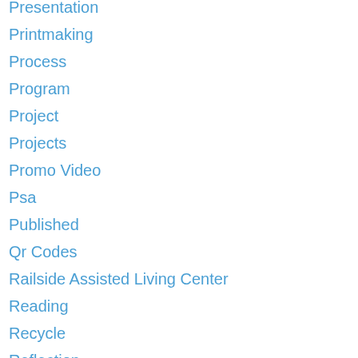Presentation
Printmaking
Process
Program
Project
Projects
Promo Video
Psa
Published
Qr Codes
Railside Assisted Living Center
Reading
Recycle
Reflection
Reflections
Region 9 Show
Remix
Research
Resolutions
Robotics
Robots